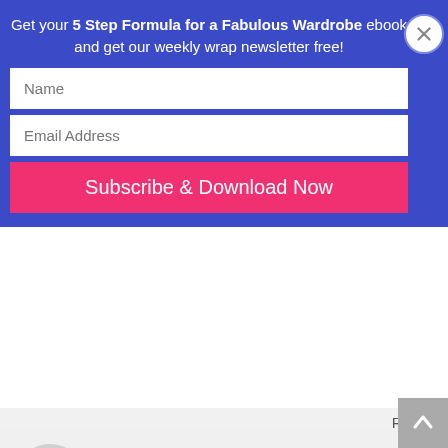Get your 5 Step Formula for a Fabulous Wardrobe ebook and get our weekly wrap newsletter free!
[Figure (screenshot): Email signup form with Name field, Email Address field, and Subscribe & Download Now button on blue background. Close button (X) in top right.]
Reply
[Figure (illustration): Grey circular avatar placeholder icon]
Sal
January 25, 2010 at 2:19 pm
I am definitely guilty of using the same bag all the time ... though I'll admit that I spent AGES looking for a bag that I felt would do well with both feminine/formal and other outfits, to keep it versatile.